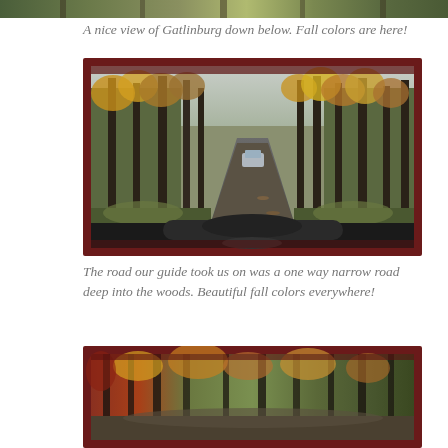[Figure (photo): Top edge of a photo showing autumn forest scene with fall colors, partially cropped at top of page]
A nice view of Gatlinburg down below. Fall colors are here!
[Figure (photo): View through a vehicle window frame (dark red/maroon border) of a narrow one-way road through tall trees with autumn fall colors — yellows, oranges, greens. A car is visible ahead on the road. The vehicle's dashboard is visible at the bottom.]
The road our guide took us on was a one way narrow road deep into the woods. Beautiful fall colors everywhere!
[Figure (photo): Another view through a vehicle window frame (dark red/maroon border) of trees with autumn fall colors along a narrow road, partially cropped at the bottom of the page]